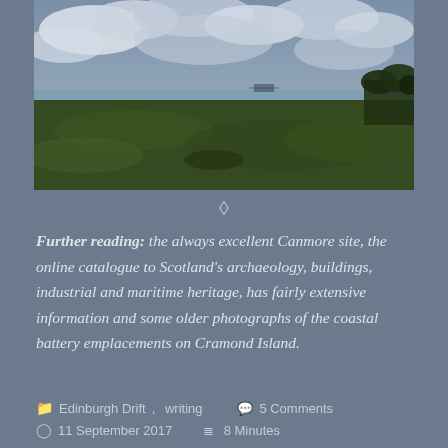[Figure (photo): Landscape photograph of a coastal area with flat grassy marshland in the foreground, a distant shoreline and water in the middle ground, and a cloudy sky with patches of blue above. Trees visible on the far right. A structure visible in the distance on the coast.]
◇
Further reading: the always excellent Canmore site, the online catalogue to Scotland's archaeology, buildings, industrial and maritime heritage, has fairly extensive information and some older photographs of the coastal battery emplacements on Cramond Island.
Edinburgh Drift, writing   5 Comments   11 September 2017   8 Minutes